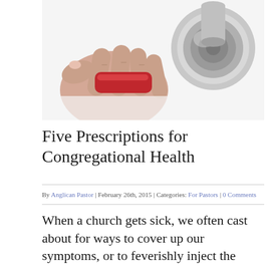[Figure (photo): Close-up photo of a hand holding a red stethoscope with a metallic chest piece, on a white background.]
Five Prescriptions for Congregational Health
By Anglican Pastor | February 26th, 2015 | Categories: For Pastors | 0 Comments
When a church gets sick, we often cast about for ways to cover up our symptoms, or to feverishly inject the